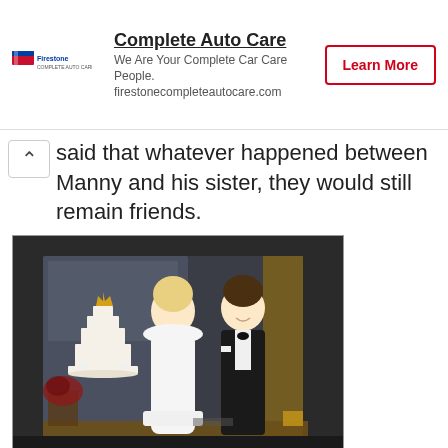[Figure (screenshot): Firestone Complete Auto Care advertisement banner with logo, tagline 'We Are Your Complete Car Care People.', URL 'firestonecompleteautocare.com', and a red-bordered 'Learn More' button]
said that whatever happened between Manny and his sister, they would still remain friends.
[Figure (photo): A bride in a short white off-shoulder dress and a groom in a black tuxedo posing next to a white tiered wedding cake with a golden crown topper, in an indoor venue setting.]
Yainee and Manny dated for a few years until February 2013 when Manny proposed to her. The proposal did not